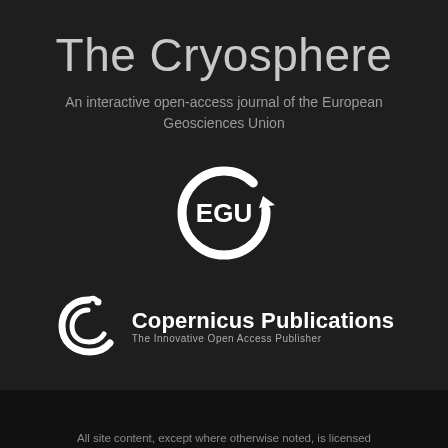The Cryosphere
An interactive open-access journal of the European Geosciences Union
[Figure (logo): EGU (European Geosciences Union) logo — white circular arrow with the letters EGU inside]
[Figure (logo): Copernicus Publications logo — stylized C with swirl and text 'Copernicus Publications / The Innovative Open Access Publisher']
All site content, except where otherwise noted, is licensed